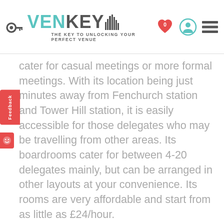[Figure (logo): Venkey logo with key icon and tagline 'THE KEY TO UNLOCKING YOUR PERFECT VENUE']
cater for casual meetings or more formal meetings. With its location being just minutes away from Fenchurch station and Tower Hill station, it is easily accessible for those delegates who may be travelling from other areas. Its boardrooms cater for between 4-20 delegates mainly, but can be arranged in other layouts at your convenience. Its rooms are very affordable and start from as little as £24/hour.
Address: 3 Lloyd's Avenue, EC3N 3DS, London
Capacity: 4-20 people
Price: £24-£132/hour
Number of meeting rooms: 6